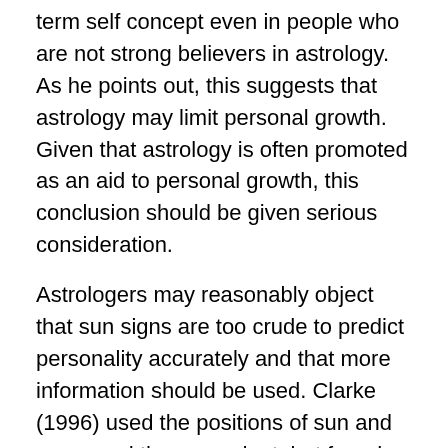term self concept even in people who are not strong believers in astrology. As he points out, this suggests that astrology may limit personal growth. Given that astrology is often promoted as an aid to personal growth, this conclusion should be given serious consideration.
Astrologers may reasonably object that sun signs are too crude to predict personality accurately and that more information should be used. Clarke (1996) used the positions of sun and moon and the ascendant, but found no support for the claim that positive signs are related with extraversion and water signs with emotionality.
Others may argue that for a proper assessment the whole birth chart is needed. This leads to a simple prediction. If the astrological hypothesis is correct then correlations between personality and the whole birth chart will be much higher than correlations between